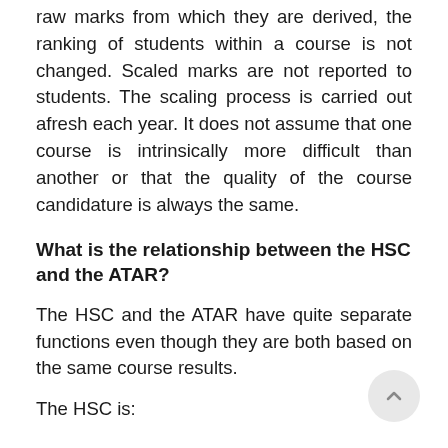raw marks from which they are derived, the ranking of students within a course is not changed. Scaled marks are not reported to students. The scaling process is carried out afresh each year. It does not assume that one course is intrinsically more difficult than another or that the quality of the course candidature is always the same.
What is the relationship between the HSC and the ATAR?
The HSC and the ATAR have quite separate functions even though they are both based on the same course results.
The HSC is: